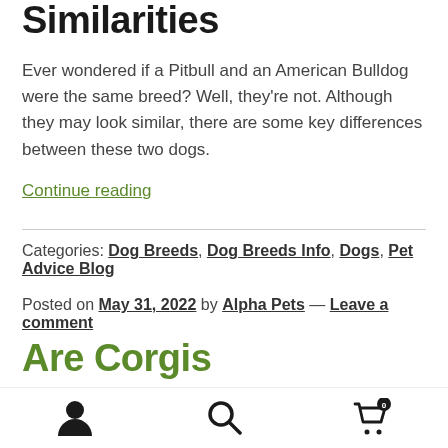Similarities
Ever wondered if a Pitbull and an American Bulldog were the same breed? Well, they’re not. Although they may look similar, there are some key differences between these two dogs.
Continue reading
Categories: Dog Breeds, Dog Breeds Info, Dogs, Pet Advice Blog
Posted on May 31, 2022 by Alpha Pets — Leave a comment
Are Corgis